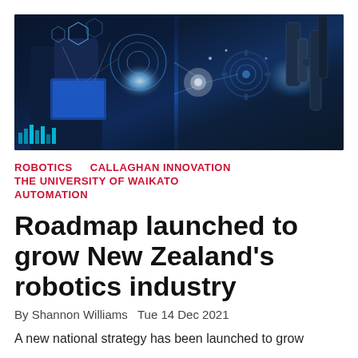[Figure (photo): Hero image showing a person in a suit using a digital tablet with holographic interface overlays on the left, and robotic arms with glowing industrial elements on the right, with blue and white lighting tones]
ROBOTICS   CALLAGHAN INNOVATION   THE UNIVERSITY OF WAIKATO   AUTOMATION
Roadmap launched to grow New Zealand's robotics industry
By Shannon Williams  Tue 14 Dec 2021
A new national strategy has been launched to grow